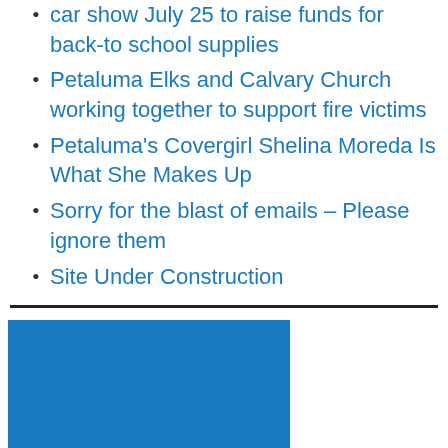car show July 25 to raise funds for back-to school supplies
Petaluma Elks and Calvary Church working together to support fire victims
Petaluma's Covergirl Shelina Moreda Is What She Makes Up
Sorry for the blast of emails – Please ignore them
Site Under Construction
[Figure (other): Blue rectangular image/advertisement block]